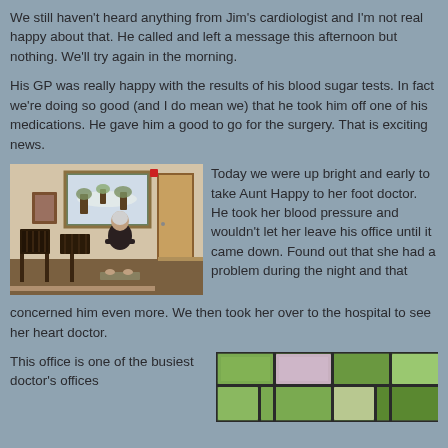We still haven't heard anything from Jim's cardiologist and I'm not real happy about that. He called and left a message this afternoon but nothing. We'll try again in the morning.
His GP was really happy with the results of his blood sugar tests. In fact we're doing so good (and I do mean we) that he took him off one of his medications. He gave him a good to go for the surgery. That is exciting news.
[Figure (photo): Elderly person sitting in a waiting room area with chairs and framed artwork on the wall]
Today we were up bright and early to take Aunt Happy to her foot doctor. He took her blood pressure and wouldn't let her leave his office until it came down. Found out that she had a problem during the night and that concerned him even more. We then took her over to the hospital to see her heart doctor.
This office is one of the busiest doctor's offices
[Figure (photo): Stained glass window with geometric pattern in green, purple, and other colors]